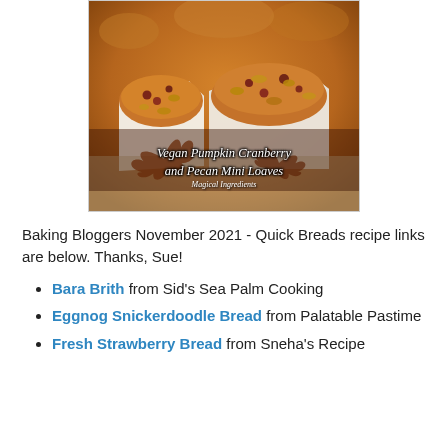[Figure (photo): Photo of vegan pumpkin cranberry and pecan mini loaves in white paper liners on a decorative surface. Overlay text reads 'Vegan Pumpkin Cranberry and Pecan Mini Loaves' and 'Magical Ingredients'.]
Baking Bloggers November 2021 - Quick Breads recipe links are below. Thanks, Sue!
Bara Brith from Sid's Sea Palm Cooking
Eggnog Snickerdoodle Bread from Palatable Pastime
Fresh Strawberry Bread from Sneha's Recipe